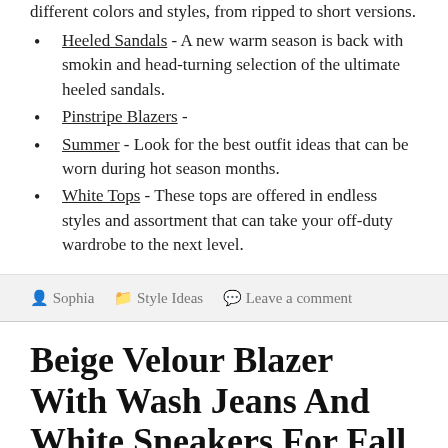different colors and styles, from ripped to short versions.
Heeled Sandals - A new warm season is back with smokin and head-turning selection of the ultimate heeled sandals.
Pinstripe Blazers -
Summer - Look for the best outfit ideas that can be worn during hot season months.
White Tops - These tops are offered in endless styles and assortment that can take your off-duty wardrobe to the next level.
Sophia   Style Ideas   Leave a comment
Beige Velour Blazer With Wash Jeans And White Sneakers For Fall